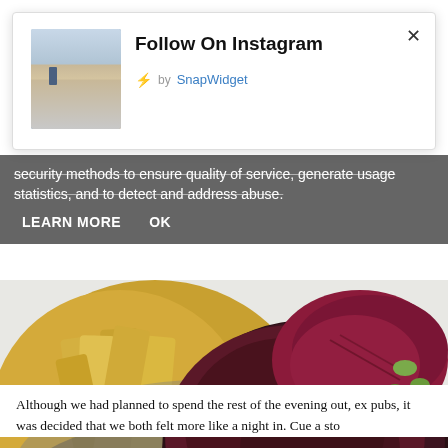[Figure (screenshot): Modal popup dialog with title 'Follow On Instagram', a beach thumbnail photo on the left, and 'by SnapWidget' attribution with a lightning bolt icon. A close X button appears in the top right corner.]
security methods to ensure quality of service, generate usage statistics, and to detect and address abuse.
LEARN MORE   OK
[Figure (photo): Close-up food photo showing thick-cut chips/fries in a metal bowl on the left, and a dark meat burger or patty with red cabbage and green garnish on a white plate on the right.]
Although we had planned to spend the rest of the evening out, ex pubs, it was decided that we both felt more like a night in. Cue a sto